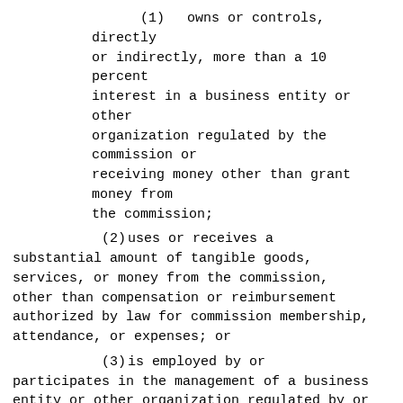(1)  owns or controls, directly or indirectly, more than a 10 percent interest in a business entity or other organization regulated by the commission or receiving money other than grant money from the commission;
(2)  uses or receives a substantial amount of tangible goods, services, or money from the commission, other than compensation or reimbursement authorized by law for commission membership, attendance, or expenses; or
(3)  is employed by or participates in the management of a business entity or other organization regulated by or receiving money other than grant money from the commission.
(c)  Members serve for staggered six-year terms, with the terms of one-third of